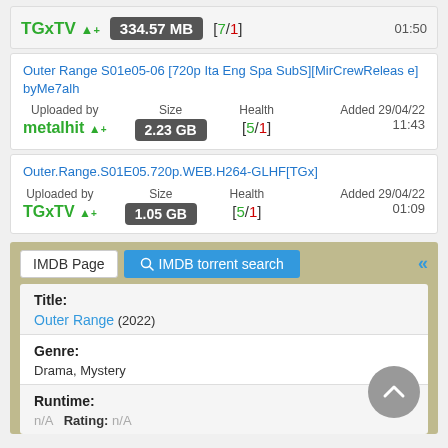TGxTV 334.57 MB [7/1] 01:50
Outer Range S01e05-06 [720p Ita Eng Spa SubS][MirCrewRelease] byMe7alh
Uploaded by metalhit | Size 2.23 GB | Health [5/1] | Added 29/04/22 11:43
Outer.Range.S01E05.720p.WEB.H264-GLHF[TGx]
Uploaded by TGxTV | Size 1.05 GB | Health [5/1] | Added 29/04/22 01:09
IMDB Page | IMDB torrent search
Title: Outer Range (2022)
Genre: Drama, Mystery
Runtime: n/A | Rating: n/A